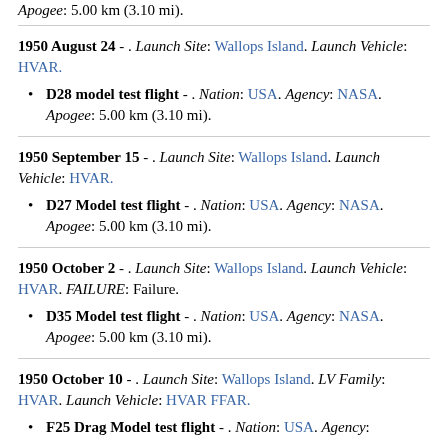Apogee: 5.00 km (3.10 mi).
1950 August 24 - . Launch Site: Wallops Island. Launch Vehicle: HVAR.
D28 model test flight - . Nation: USA. Agency: NASA. Apogee: 5.00 km (3.10 mi).
1950 September 15 - . Launch Site: Wallops Island. Launch Vehicle: HVAR.
D27 Model test flight - . Nation: USA. Agency: NASA. Apogee: 5.00 km (3.10 mi).
1950 October 2 - . Launch Site: Wallops Island. Launch Vehicle: HVAR. FAILURE: Failure.
D35 Model test flight - . Nation: USA. Agency: NASA. Apogee: 5.00 km (3.10 mi).
1950 October 10 - . Launch Site: Wallops Island. LV Family: HVAR. Launch Vehicle: HVAR FFAR.
F25 Drag Model test flight - . Nation: USA. Agency: